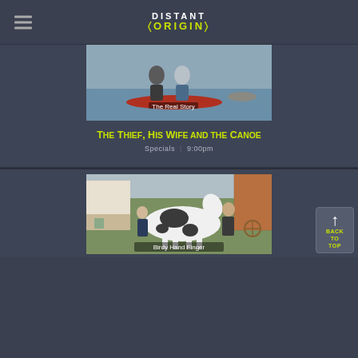DISTANT ORIGIN
[Figure (photo): Two people standing near a red canoe by a lake. Text overlay: The Real Story.]
The Thief, His Wife and the Canoe
Specials  |  9:00pm
[Figure (photo): Two people with a large black and white horse on a green lawn. Text overlay: Birdy Hand Finger.]